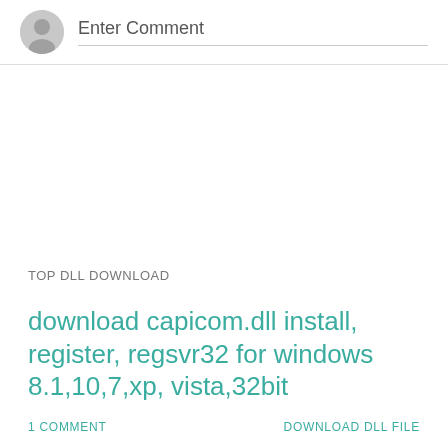[Figure (illustration): Circular avatar placeholder icon (grey silhouette of a person) next to 'Enter Comment' input field with bottom border]
Enter Comment
TOP DLL DOWNLOAD
download capicom.dll install, register, regsvr32 for windows 8.1,10,7,xp, vista,32bit
1 COMMENT
DOWNLOAD DLL FILE